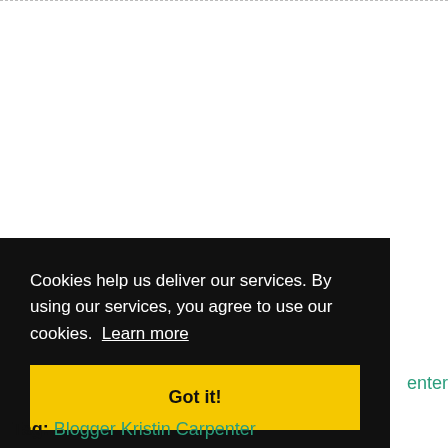Cookies help us deliver our services. By using our services, you agree to use our cookies. Learn more
Got it!
enter
Tag: Blogger Kristin Carpenter